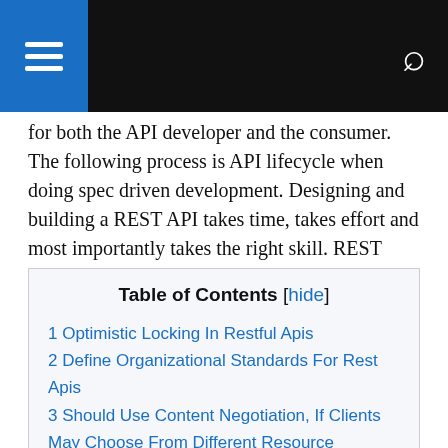[Navigation header with menu and search icons]
for both the API developer and the consumer. The following process is API lifecycle when doing spec driven development. Designing and building a REST API takes time, takes effort and most importantly takes the right skill. REST APIs should be easy to understand, well documented and follow standards so that integration is straightforward.
| Table of Contents |
| --- |
| 1 Optimistic Locking In Restful Apis |
| 2 Define Organizational Standards For Rest Apis |
| 3 Should Use Content Negotiation, If Clients May Choose From Different Resource Representations |
| 3.1 Best practices for RESTful web services : |